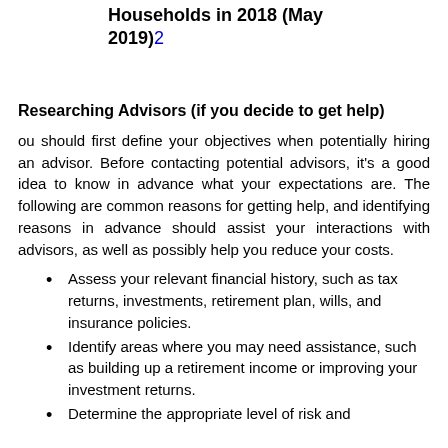Households in 2018 (May 2019)²
Researching Advisors (if you decide to get help)
ou should first define your objectives when potentially hiring an advisor. Before contacting potential advisors, it's a good idea to know in advance what your expectations are. The following are common reasons for getting help, and identifying reasons in advance should assist your interactions with advisors, as well as possibly help you reduce your costs.
Assess your relevant financial history, such as tax returns, investments, retirement plan, wills, and insurance policies.
Identify areas where you may need assistance, such as building up a retirement income or improving your investment returns.
Determine the appropriate level of risk and